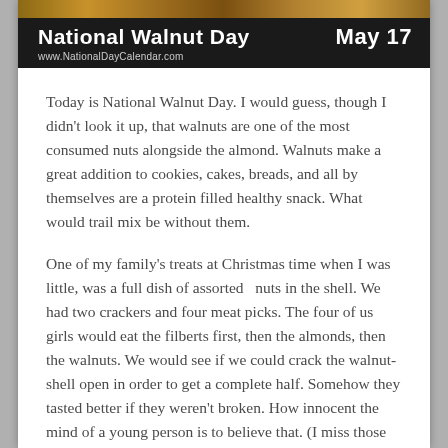National Walnut Day | www.NationalDayCalendar.com | May 17
Today is National Walnut Day. I would guess, though I didn't look it up, that walnuts are one of the most consumed nuts alongside the almond. Walnuts make a great addition to cookies, cakes, breads, and all by themselves are a protein filled healthy snack. What would trail mix be without them.
One of my family's treats at Christmas time when I was little, was a full dish of assorted  nuts in the shell. We had two crackers and four meat picks. The four of us girls would eat the filberts first, then the almonds, then the walnuts. We would see if we could crack the walnut-shell open in order to get a complete half. Somehow they tasted better if they weren't broken. How innocent the mind of a young person is to believe that. (I miss those days.)